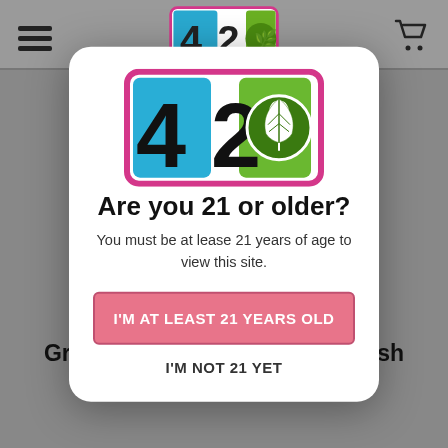[Figure (screenshot): Background of a cannabis retail website showing a header with hamburger menu, 420 logo, cart icon, a horizontal divider, dimmed gray overlay, and two product names at the bottom: Green Crack and Kimbo Kush.]
[Figure (logo): 420 brand logo inside a rounded rectangle with pink/magenta border. Shows '4' in blue, '2' in black, '0' as a green cannabis leaf circle on green background.]
Are you 21 or older?
You must be at lease 21 years of age to view this site.
I'M AT LEAST 21 YEARS OLD
I'M NOT 21 YET
Green Crack
Kimbo Kush
Cartridge
Wax